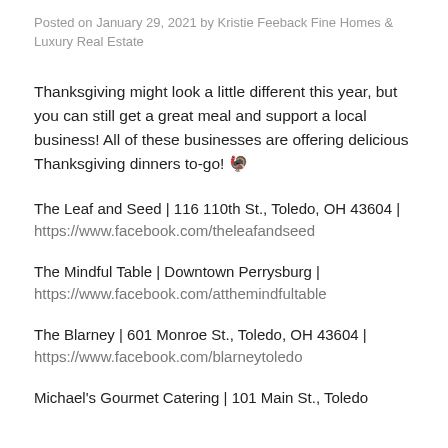Posted on January 29, 2021 by Kristie Feeback Fine Homes & Luxury Real Estate
Thanksgiving might look a little different this year, but you can still get a great meal and support a local business! All of these businesses are offering delicious Thanksgiving dinners to-go! 🦃
The Leaf and Seed | 116 110th St., Toledo, OH 43604 | https://www.facebook.com/theleafandseed
The Mindful Table | Downtown Perrysburg | https://www.facebook.com/atthemindfultable
The Blarney | 601 Monroe St., Toledo, OH 43604 | https://www.facebook.com/blarneytoledo
Michael's Gourmet Catering | 101 Main St., Toledo